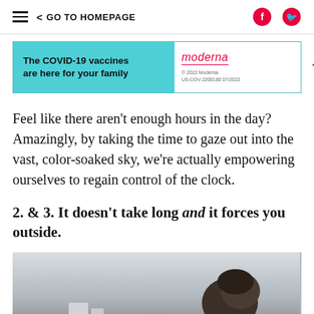≡  < GO TO HOMEPAGE
[Figure (advertisement): Moderna COVID-19 vaccine advertisement banner with teal background on the left reading 'The COVID-19 vaccines are here for your family' and Moderna logo on white right side with fine print '© 2022 Moderna US-COV-2200180 07/2022']
Feel like there aren't enough hours in the day? Amazingly, by taking the time to gaze out into the vast, color-soaked sky, we're actually empowering ourselves to regain control of the clock.
2. & 3. It doesn't take long and it forces you outside.
[Figure (photo): Photo of a person's head/silhouette looking upward, shot from below against a bright sky]